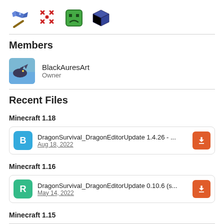[Figure (illustration): Row of four game/app icons: a pickaxe tool, a red asterisk/star cluster, a sad green face block, and a dark blue cube]
Members
[Figure (photo): Avatar image of BlackAuresArt showing a dragon or fantasy scene]
BlackAuresArt
Owner
Recent Files
Minecraft 1.18
DragonSurvival_DragonEditorUpdate 1.4.26 - ...
Aug 18, 2022
Minecraft 1.16
DragonSurvival_DragonEditorUpdate 0.10.6 (s...
May 14, 2022
Minecraft 1.15